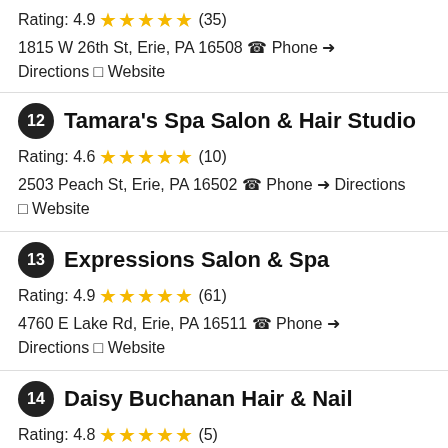Rating: 4.9 ★★★★★ (35)
1815 W 26th St, Erie, PA 16508 ☎ Phone → Directions ◻ Website
12 Tamara's Spa Salon & Hair Studio
Rating: 4.6 ★★★★★ (10)
2503 Peach St, Erie, PA 16502 ☎ Phone → Directions ◻ Website
13 Expressions Salon & Spa
Rating: 4.9 ★★★★★ (61)
4760 E Lake Rd, Erie, PA 16511 ☎ Phone → Directions ◻ Website
14 Daisy Buchanan Hair & Nail
Rating: 4.8 ★★★★★ (5)